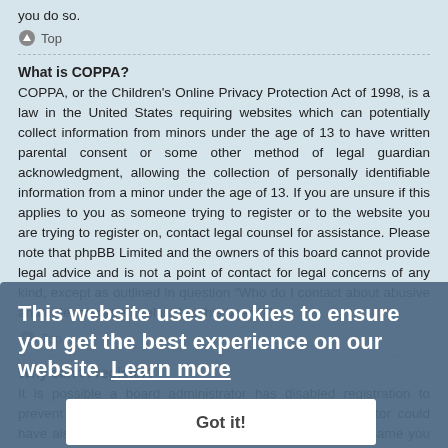you do so.
Top
What is COPPA?
COPPA, or the Children's Online Privacy Protection Act of 1998, is a law in the United States requiring websites which can potentially collect information from minors under the age of 13 to have written parental consent or some other method of legal guardian acknowledgment, allowing the collection of personally identifiable information from a minor under the age of 13. If you are unsure if this applies to you as someone trying to register or to the website you are trying to register on, contact legal counsel for assistance. Please note that phpBB Limited and the owners of this board cannot provide legal advice and is not a point of contact for legal concerns of any kind, except as outlined in question “Who do I contact about abusive and/or legal matters related to this board?”.
Top
Why can't I register?
It is possible a board administrator has disabled registration to prevent new visitors from signing up. A board administrator could have also banned your IP address or disallowed the username you are attempting to register. Contact a board administrator for assistance.
Top
This website uses cookies to ensure you get the best experience on our website. Learn more Got it!